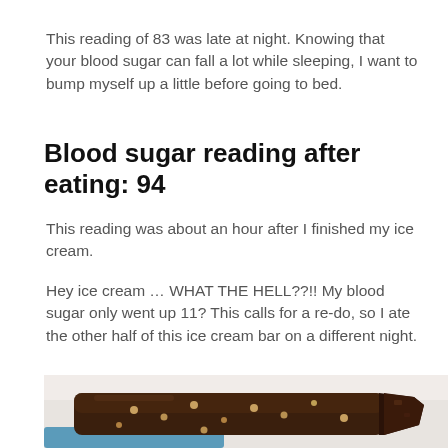This reading of 83 was late at night. Knowing that your blood sugar can fall a lot while sleeping, I want to bump myself up a little before going to bed.
Blood sugar reading after eating: 94
This reading was about an hour after I finished my ice cream.
Hey ice cream … WHAT THE HELL??!! My blood sugar only went up 11? This calls for a re-do, so I ate the other half of this ice cream bar on a different night.
[Figure (photo): Photo of a chocolate ice cream bar with nuts on a white surface, partially eaten, resting on a blue wrapper/stick.]